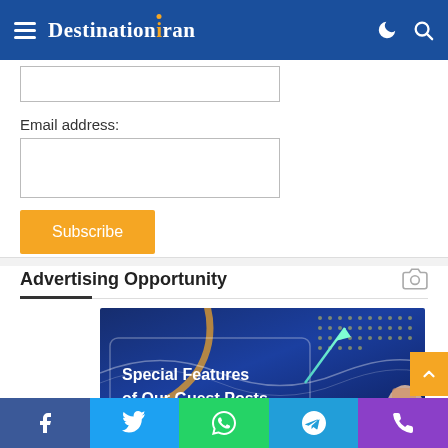Destination Iran navigation bar
Email address:
Subscribe
Advertising Opportunity
[Figure (illustration): Advertising banner showing 'Special Features of Our Guest Posts' with SEO text, teal upward arrow, dotted pattern, and gold arc on dark blue background]
Social share bar: Facebook, Twitter, WhatsApp, Telegram, Phone